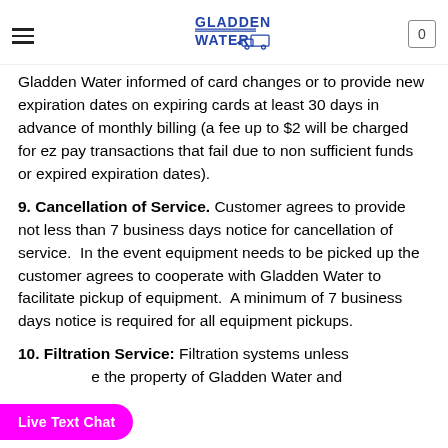Gladden Water logo, navigation menu, cart (0)
Gladden Water informed of card changes or to provide new expiration dates on expiring cards at least 30 days in advance of monthly billing (a fee up to $2 will be charged for ez pay transactions that fail due to non sufficient funds or expired expiration dates).
9. Cancellation of Service. Customer agrees to provide not less than 7 business days notice for cancellation of service.  In the event equipment needs to be picked up the customer agrees to cooperate with Gladden Water to facilitate pickup of equipment.  A minimum of 7 business days notice is required for all equipment pickups.
10. Filtration Service: Filtration systems unless [obscured] the property of Gladden Water and